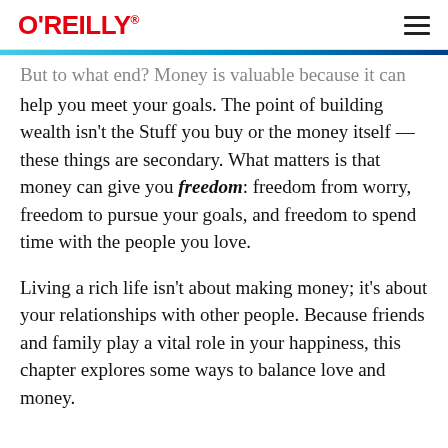O'REILLY
But to what end? Money is valuable because it can help you meet your goals. The point of building wealth isn't the Stuff you buy or the money itself—these things are secondary. What matters is that money can give you freedom: freedom from worry, freedom to pursue your goals, and freedom to spend time with the people you love.
Living a rich life isn't about making money; it's about your relationships with other people. Because friends and family play a vital role in your happiness, this chapter explores some ways to balance love and money.